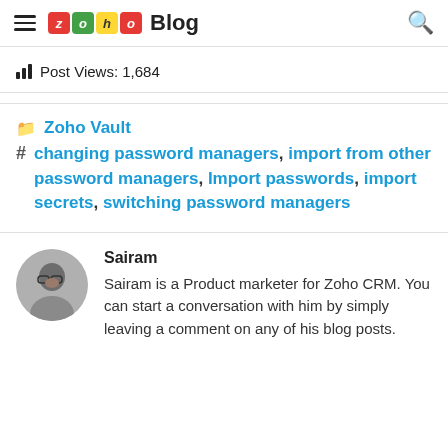Zoho Blog
Post Views: 1,684
Zoho Vault
changing password managers, import from other password managers, Import passwords, import secrets, switching password managers
Sairam
Sairam is a Product marketer for Zoho CRM. You can start a conversation with him by simply leaving a comment on any of his blog posts.